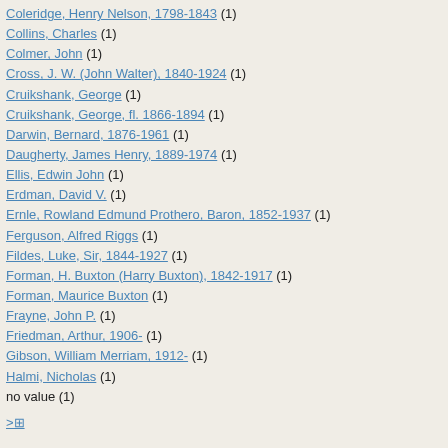Coleridge, Henry Nelson, 1798-1843 (1)
Collins, Charles (1)
Colmer, John (1)
Cross, J. W. (John Walter), 1840-1924 (1)
Cruikshank, George (1)
Cruikshank, George, fl. 1866-1894 (1)
Darwin, Bernard, 1876-1961 (1)
Daugherty, James Henry, 1889-1974 (1)
Ellis, Edwin John (1)
Erdman, David V. (1)
Ernle, Rowland Edmund Prothero, Baron, 1852-1937 (1)
Ferguson, Alfred Riggs (1)
Fildes, Luke, Sir, 1844-1927 (1)
Forman, H. Buxton (Harry Buxton), 1842-1917 (1)
Forman, Maurice Buxton (1)
Frayne, John P. (1)
Friedman, Arthur, 1906- (1)
Gibson, William Merriam, 1912- (1)
Halmi, Nicholas (1)
no value (1)
>⊞